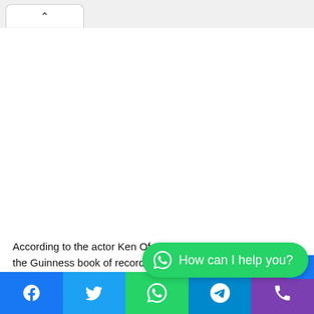[Figure (screenshot): Browser tab bar with a white active tab containing a chevron/up-arrow icon on a light gray background]
According to the actor Ken Ofori-Atta wants his name to enter the Guinness book of record
[Figure (infographic): WhatsApp chat bubble overlay with text 'How can I help you?' in green, and a social sharing bar at the bottom with Facebook, Twitter, WhatsApp, Telegram, and phone icons]